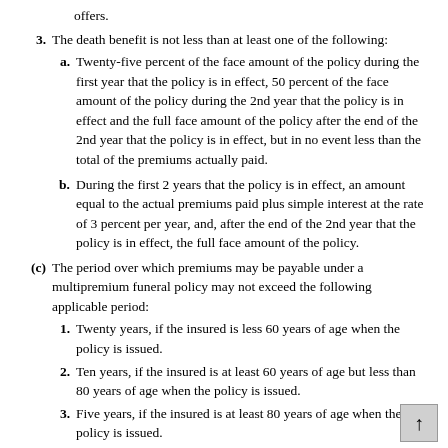offers.
3. The death benefit is not less than at least one of the following:
a. Twenty-five percent of the face amount of the policy during the first year that the policy is in effect, 50 percent of the face amount of the policy during the 2nd year that the policy is in effect and the full face amount of the policy after the end of the 2nd year that the policy is in effect, but in no event less than the total of the premiums actually paid.
b. During the first 2 years that the policy is in effect, an amount equal to the actual premiums paid plus simple interest at the rate of 3 percent per year, and, after the end of the 2nd year that the policy is in effect, the full face amount of the policy.
(c) The period over which premiums may be payable under a multipremium funeral policy may not exceed the following applicable period:
1. Twenty years, if the insured is less 60 years of age when the policy is issued.
2. Ten years, if the insured is at least 60 years of age but less than 80 years of age when the policy is issued.
3. Five years, if the insured is at least 80 years of age when the policy is issued.